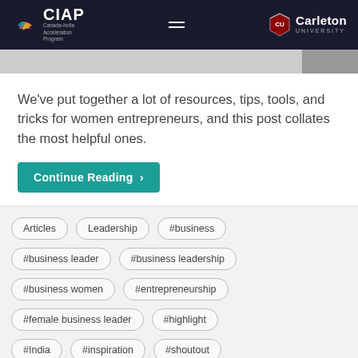CIAP Canada-India Acceleration Program | Carleton University
We've put together a lot of resources, tips, tools, and tricks for women entrepreneurs, and this post collates the most helpful ones.
Continue Reading →
Articles
Leadership
#business
#business leader
#business leadership
#business women
#entrepreneurship
#female business leader
#highlight
#India
#inspiration
#shoutout
#startup
#STEM
#women in business